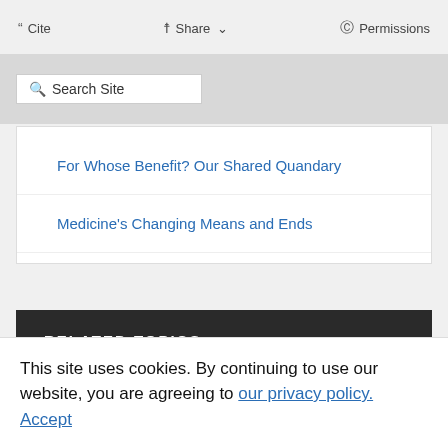Cite  Share  Permissions
RELATED BOOK CHAPTERS
For Whose Benefit? Our Shared Quandary
Medicine's Changing Means and Ends
RELATED TOPICS
Affordable Care Act
health care access
This site uses cookies. By continuing to use our website, you are agreeing to our privacy policy. Accept